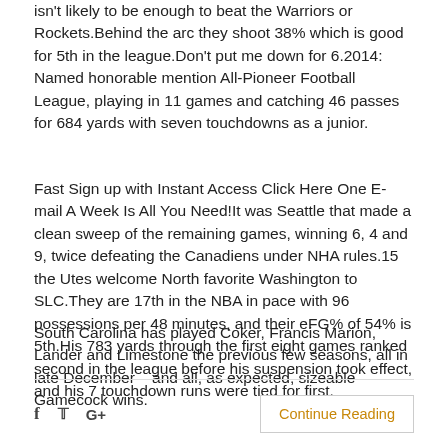isn't likely to be enough to beat the Warriors or Rockets.Behind the arc they shoot 38% which is good for 5th in the league.Don't put me down for 6.2014: Named honorable mention All-Pioneer Football League, playing in 11 games and catching 46 passes for 684 yards with seven touchdowns as a junior.
Fast Sign up with Instant Access Click Here One E-mail A Week Is All You Need!It was Seattle that made a clean sweep of the remaining games, winning 6, 4 and 9, twice defeating the Canadiens under NHA rules.15 the Utes welcome North favorite Washington to SLC.They are 17th in the NBA in pace with 96 possessions per 48 minutes, and their eFG% of 54% is 5th.His 783 yards through the first eight games ranked second in the league before his suspension took effect, and his 7 touchdown runs were tied for first.
South Carolina has played Coker, Francis Marion, Lander and Limestone the previous few seasons, all in late December – and all, as expected, sizeable Gamecock wins.
Continue Reading